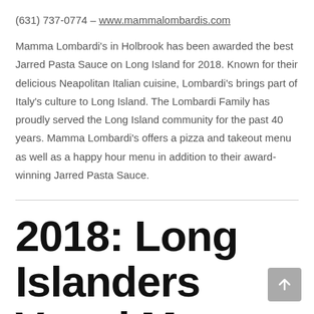(631) 737-0774 – www.mammalombardis.com
Mamma Lombardi's in Holbrook has been awarded the best Jarred Pasta Sauce on Long Island for 2018. Known for their delicious Neapolitan Italian cuisine, Lombardi's brings part of Italy's culture to Long Island. The Lombardi Family has proudly served the Long Island community for the past 40 years. Mamma Lombardi's offers a pizza and takeout menu as well as a happy hour menu in addition to their award-winning Jarred Pasta Sauce.
2018: Long Islanders Voted Mama Lombardi's